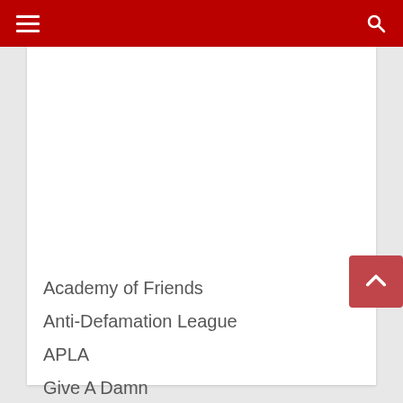Navigation bar with menu and search icons
[Figure (photo): Partial photo of a person wearing a black shirt, khaki pants, and a black belt with silver buckle, cropped to show torso area]
Academy of Friends
Anti-Defamation League
APLA
Give A Damn
GLAAD
Jewish Culture
L.A. Gay & Lesbian Center
Lamda Legal
LGBT Community Center
Pflag.org